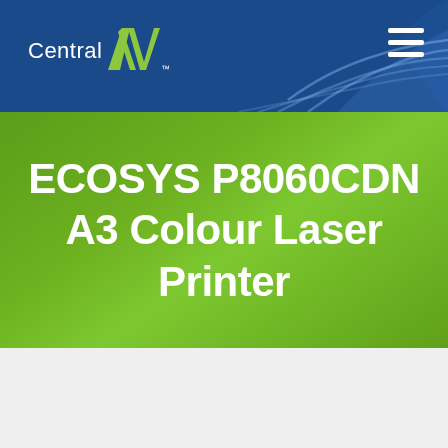Central AV
ECOSYS P8060CDN A3 Colour Laser Printer